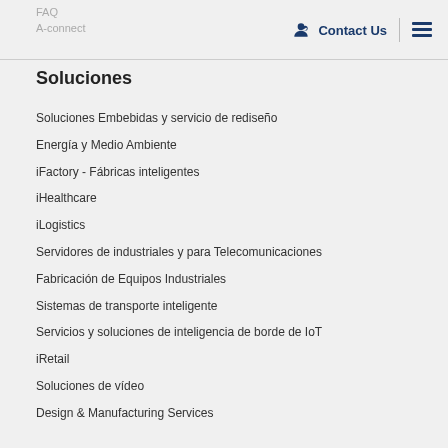FAQ | A-connect | Contact Us
Soluciones
Soluciones Embebidas y servicio de rediseño
Energía y Medio Ambiente
iFactory - Fábricas inteligentes
iHealthcare
iLogistics
Servidores de industriales y para Telecomunicaciones
Fabricación de Equipos Industriales
Sistemas de transporte inteligente
Servicios y soluciones de inteligencia de borde de IoT
iRetail
Soluciones de vídeo
Design & Manufacturing Services